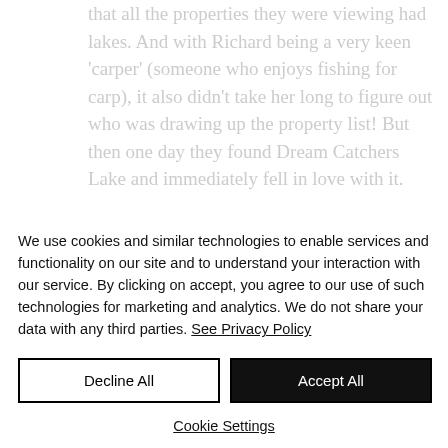that all the properties they were viewing had lakes. And with Richard being a very keen 'carper' (someone who enjoys fishing for carp), it also didn't take her long to figure out who was drawing up the property list! But then one day they found Dream Catchers Lake and immediately fell in love with it.
We use cookies and similar technologies to enable services and functionality on our site and to understand your interaction with our service. By clicking on accept, you agree to our use of such technologies for marketing and analytics. We do not share your data with any third parties. See Privacy Policy
Decline All
Accept All
Cookie Settings